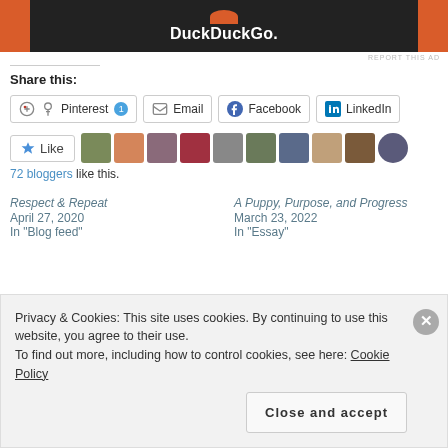[Figure (screenshot): DuckDuckGo advertisement banner with orange and dark background showing DuckDuckGo logo and text]
REPORT THIS AD
Share this:
Pinterest 1  Email  Facebook  LinkedIn
[Figure (other): Like button with star icon followed by avatar photos of bloggers]
72 bloggers like this.
Respect & Repeat
April 27, 2020
In "Blog feed"
A Puppy, Purpose, and Progress
March 23, 2022
In "Essay"
Privacy & Cookies: This site uses cookies. By continuing to use this website, you agree to their use.
To find out more, including how to control cookies, see here: Cookie Policy
Close and accept